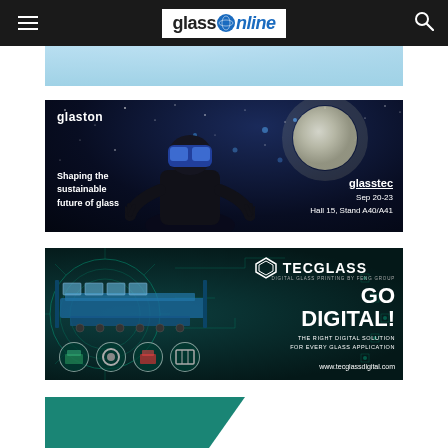glassOnline
[Figure (photo): Partial banner image at top, light blue/glass background]
[Figure (photo): Glaston advertisement: person wearing VR headset in front of moon in starry space. Text: 'glaston', 'Shaping the sustainable future of glass', 'glasstec Sep 20-23 Hall 15, Stand A40/A41']
[Figure (photo): Tecglass advertisement: digital glass printing machine image on teal circuit board background. Text: 'TECGLASS DIGITAL GLASS PRINTING BY FENG GROUP', 'GO DIGITAL!', 'THE RIGHT DIGITAL SOLUTION FOR EVERY GLASS APPLICATION', 'www.tecglassdigital.com']
[Figure (photo): Partial teal/green banner ad at bottom, partially visible]